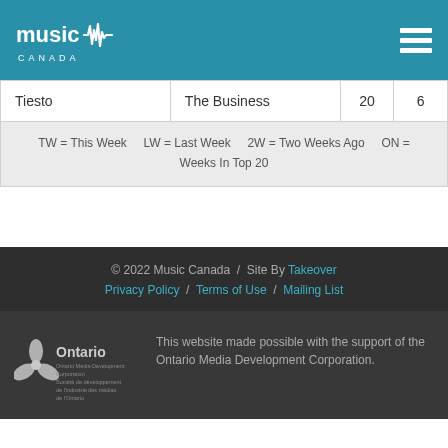Music Canada
| Artist | Song | TW | ON |
| --- | --- | --- | --- |
| Tiesto | The Business | 20 | 6 |
TW = This Week    LW = Last Week    2W = Two Weeks Ago    ON = Weeks In Top 20
© 2022 Music Canada  /  Site By Takeover   Privacy Policy  /  Terms of Use  /  Mailing List
This website made possible with the support of the Ontario Media Development Corporation.